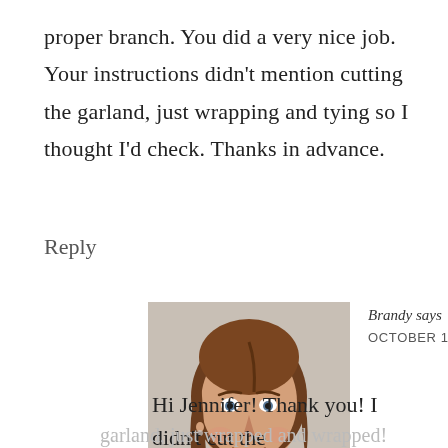proper branch. You did a very nice job. Your instructions didn't mention cutting the garland, just wrapping and tying so I thought I'd check. Thanks in advance.
Reply
[Figure (photo): Headshot photo of a young woman with long brown hair, smiling, against a light background.]
Brandy says
OCTOBER 18, 2014 AT 10:28 PM
Hi Jennifer! Thank you! I didn't cut the garland, just wrapped and wrapped!